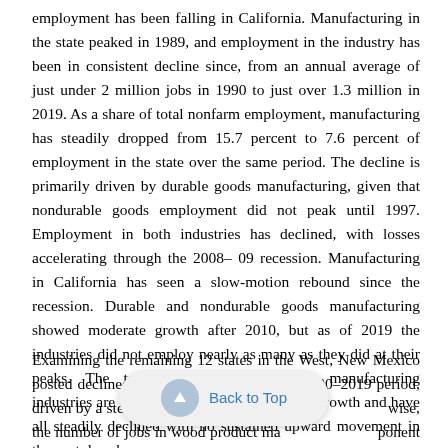employment has been falling in California. Manufacturing in the state peaked in 1989, and employment in the industry has been in consistent decline since, from an annual average of just under 2 million jobs in 1990 to just over 1.3 million in 2019. As a share of total nonfarm employment, manufacturing has steadily dropped from 15.7 percent to 7.6 percent of employment in the state over the same period. The decline is primarily driven by durable goods manufacturing, given that nondurable goods employment did not peak until 1997. Employment in both industries has declined, with losses accelerating through the 2008–09 recession. Manufacturing in California has seen a slow-motion rebound since the recession. Durable and nondurable goods manufacturing showed moderate growth after 2010, but as of 2019 the industries did not employ nearly as many as they did at their peaks. The textile, apparel, and paper manufacturing industries are exceptions to the postrecession growth and have all steadily declined with no sustained upward movement in the past decade.
Examining the remaining 12 states in the West, New Mexico posted declines in manufacturing over the 1990–2019 period, driven by a steady drop in durable g[oods]. Likewise, the number of jobs in wood product ma[nufacturing and com]ponent industries fell